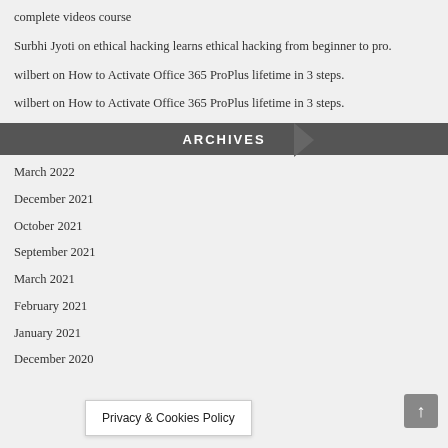complete videos course
Surbhi Jyoti on ethical hacking learns ethical hacking from beginner to pro.
wilbert on How to Activate Office 365 ProPlus lifetime in 3 steps.
wilbert on How to Activate Office 365 ProPlus lifetime in 3 steps.
ARCHIVES
March 2022
December 2021
October 2021
September 2021
March 2021
February 2021
January 2021
December 2020
Privacy & Cookies Policy